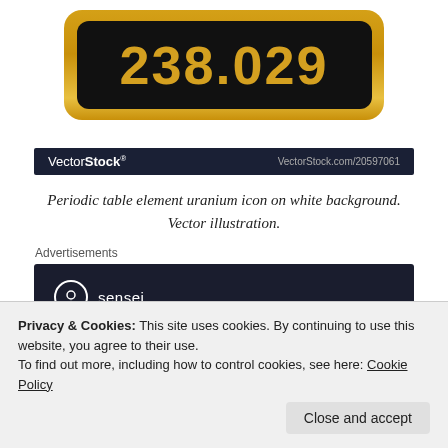[Figure (illustration): Gold rounded rectangle containing a black inner box displaying the number 238.029 in gold/orange color — periodic table element uranium icon]
[Figure (logo): VectorStock watermark bar: 'VectorStock' logo on left, 'VectorStock.com/20597061' on right, dark navy background]
Periodic table element uranium icon on white background. Vector illustration.
Advertisements
[Figure (illustration): Dark advertisement banner for 'sensei' showing logo and text 'Launch your online course with WordPress']
Privacy & Cookies: This site uses cookies. By continuing to use this website, you agree to their use.
To find out more, including how to control cookies, see here: Cookie Policy